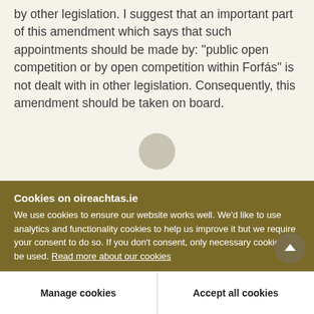by other legislation. I suggest that an important part of this amendment which says that such appointments should be made by: "public open competition or by open competition within Forfás" is not dealt with in other legislation. Consequently, this amendment should be taken on board.
[Figure (illustration): Partial avatar/profile icon circle visible at bottom of top section]
Cookies on oireachtas.ie
We use cookies to ensure our website works well. We'd like to use analytics and functionality cookies to help us improve it but we require your consent to do so. If you don't consent, only necessary cookies will be used. Read more about our cookies
Manage cookies
Accept all cookies